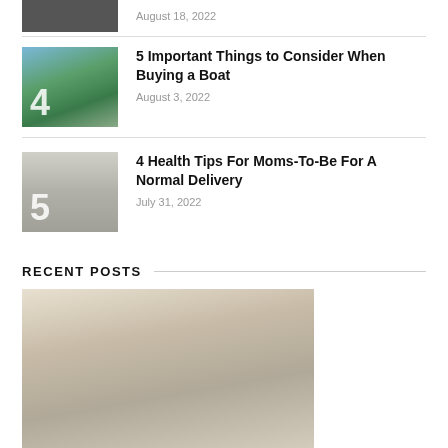August 18, 2022
[Figure (photo): Landscape photo with lake and mountains, numbered 4]
5 Important Things to Consider When Buying a Boat
August 3, 2022
[Figure (photo): Person with hands folded, numbered 5]
4 Health Tips For Moms-To-Be For A Normal Delivery
July 31, 2022
RECENT POSTS
[Figure (photo): Woman leaning forward, recent post image]